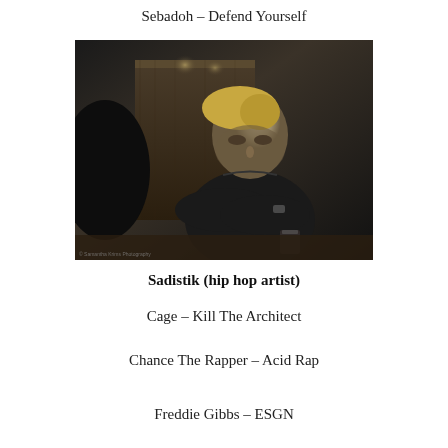Sebadoh – Defend Yourself
[Figure (photo): Black and white photograph of a young blond man wearing a black t-shirt, sitting with arms crossed at what appears to be a bar or restaurant booth, looking downward. Dark moody lighting.]
Sadistik (hip hop artist)
Cage – Kill The Architect
Chance The Rapper – Acid Rap
Freddie Gibbs – ESGN